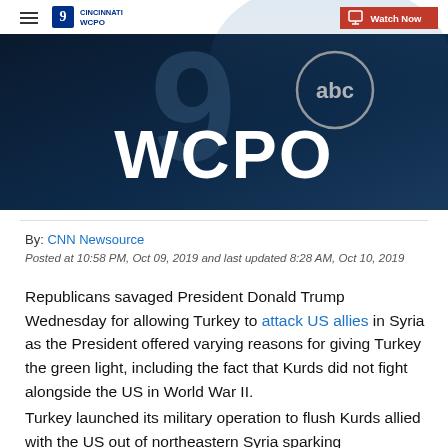[Figure (screenshot): WCPO Cincinnati ABC affiliate station logo/hero image with dark blue background showing '9 WCPO' branding and abc logo]
By: CNN Newsource
Posted at 10:58 PM, Oct 09, 2019 and last updated 8:28 AM, Oct 10, 2019
Republicans savaged President Donald Trump Wednesday for allowing Turkey to attack US allies in Syria as the President offered varying reasons for giving Turkey the green light, including the fact that Kurds did not fight alongside the US in World War II.
Turkey launched its military operation to flush Kurds allied with the US out of northeastern Syria sparking